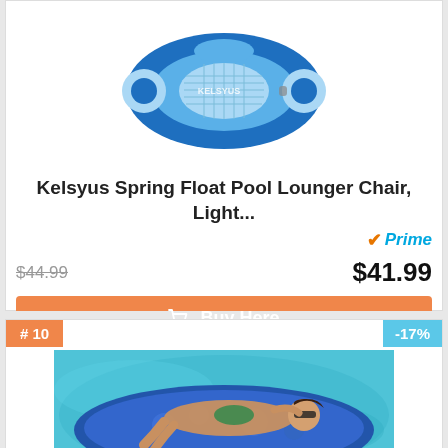[Figure (photo): Blue Kelsyus Spring Float Pool Lounger Chair product photo on white background]
Kelsyus Spring Float Pool Lounger Chair, Light...
Prime
$44.99  $41.99
Buy Here
Price incl. tax, excl. shipping
# 10
-17%
[Figure (photo): Woman in bikini lying on a pool float in a swimming pool]